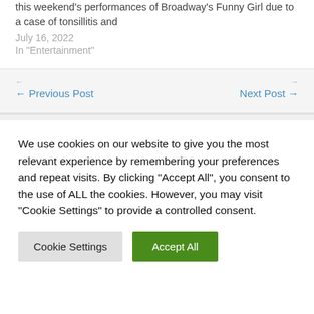this weekend's performances of Broadway's Funny Girl due to a case of tonsillitis and
July 16, 2022
In "Entertainment"
← Previous Post
Next Post →
We use cookies on our website to give you the most relevant experience by remembering your preferences and repeat visits. By clicking "Accept All", you consent to the use of ALL the cookies. However, you may visit "Cookie Settings" to provide a controlled consent.
Cookie Settings
Accept All